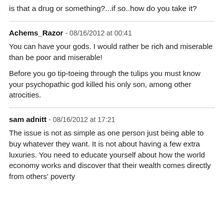is that a drug or something?...if so..how do you take it?
Achems_Razor - 08/16/2012 at 00:41
You can have your gods. I would rather be rich and miserable than be poor and miserable!
Before you go tip-toeing through the tulips you must know your psychopathic god killed his only son, among other atrocities.
sam adnitt - 08/16/2012 at 17:21
The issue is not as simple as one person just being able to buy whatever they want. It is not about having a few extra luxuries. You need to educate yourself about how the world economy works and discover that their wealth comes directly from others' poverty